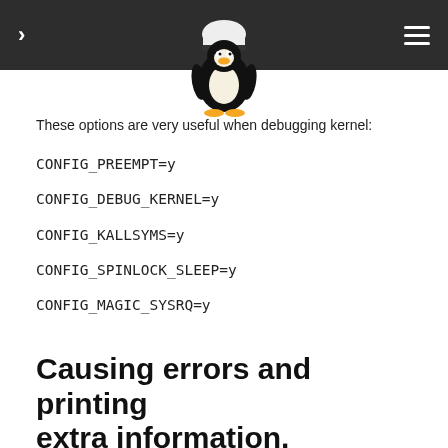[Figure (logo): Tux the Linux penguin mascot wearing a graduation or chef hat, shown from the torso up with the classic black and white coloring and orange beak and feet.]
These options are very useful when debugging kernel:
CONFIG_PREEMPT=y
CONFIG_DEBUG_KERNEL=y
CONFIG_KALLSYMS=y
CONFIG_SPINLOCK_SLEEP=y
CONFIG_MAGIC_SYSRQ=y
Causing errors and printing extra information.
Sometimes you will want to see oops information about some bug. Use BUG() BUG_ON():